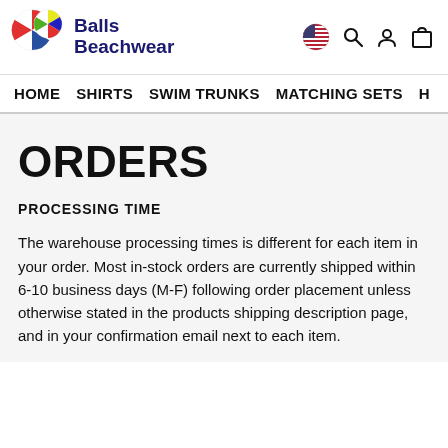[Figure (logo): Balls Beachwear logo with colorful beach ball graphic and brand name text]
HOME   SHIRTS   SWIM TRUNKS   MATCHING SETS   H
ORDERS
PROCESSING TIME
The warehouse processing times is different for each item in your order. Most in-stock orders are currently shipped within 6-10 business days (M-F) following order placement unless otherwise stated in the products shipping description page, and in your confirmation email next to each item.